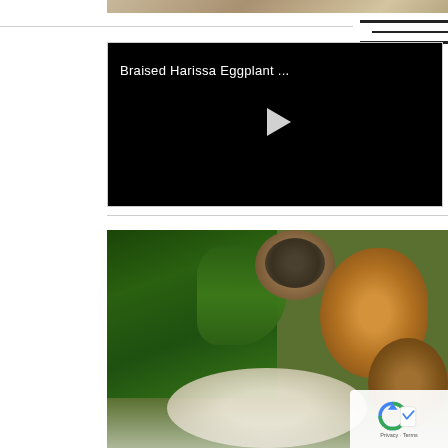[Figure (photo): Partial top portion of a food/ingredient photo visible at top of page]
[Figure (screenshot): Black video player thumbnail for 'Braised Harissa Eggplant ...' recipe video with white play button]
[Figure (photo): Food ingredients flat lay: kale/greens, rosemary, bowl of peppercorns, onion, garlic on wooden surface]